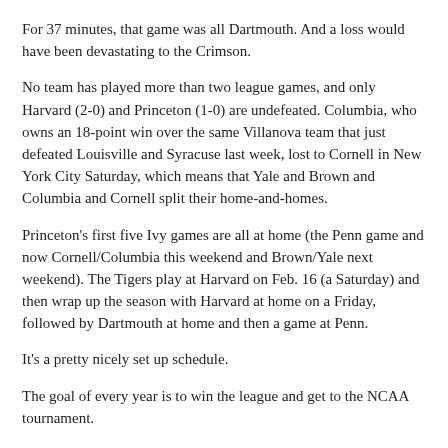For 37 minutes, that game was all Dartmouth. And a loss would have been devastating to the Crimson.
No team has played more than two league games, and only Harvard (2-0) and Princeton (1-0) are undefeated. Columbia, who owns an 18-point win over the same Villanova team that just defeated Louisville and Syracuse last week, lost to Cornell in New York City Saturday, which means that Yale and Brown and Columbia and Cornell split their home-and-homes.
Princeton's first five Ivy games are all at home (the Penn game and now Cornell/Columbia this weekend and Brown/Yale next weekend). The Tigers play at Harvard on Feb. 16 (a Saturday) and then wrap up the season with Harvard at home on a Friday, followed by Dartmouth at home and then a game at Penn.
It's a pretty nicely set up schedule.
The goal of every year is to win the league and get to the NCAA tournament.